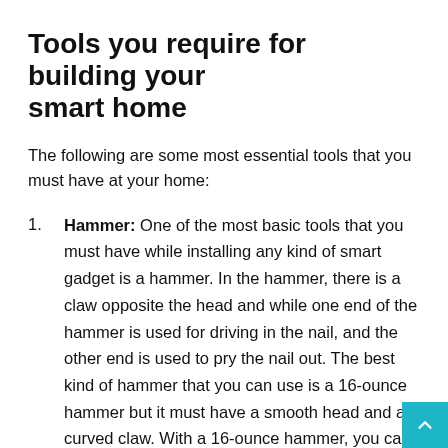Tools you require for building your smart home
The following are some most essential tools that you must have at your home:
Hammer: One of the most basic tools that you must have while installing any kind of smart gadget is a hammer. In the hammer, there is a claw opposite the head and while one end of the hammer is used for driving in the nail, and the other end is used to pry the nail out. The best kind of hammer that you can use is a 16-ounce hammer but it must have a smooth head and a curved claw. With a 16-ounce hammer, you can do all types of delicate as well as tough work. For example, you will be able to hang pictures on the wall as well as you can repair the deck.